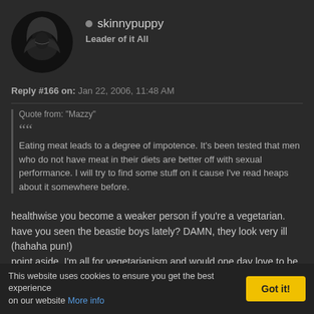skinnypuppy
Leader of it All
Reply #166 on: Jan 22, 2006, 11:48 AM
Quote from: "Mazzy"
“Eating meat leads to a degree of impotence. It's been tested that men who do not have meat in their diets are better off with sexual performance. I will try to find some stuff on it cause I've read heaps about it somewhere before.
healthwise you become a weaker person if you're a vegetarian. have you seen the beastie boys lately? DAMN, they look very ill (hahaha pun!)
point aside, I'm all for vegetarianism and would one day love to be
This website uses cookies to ensure you get the best experience on our website More info